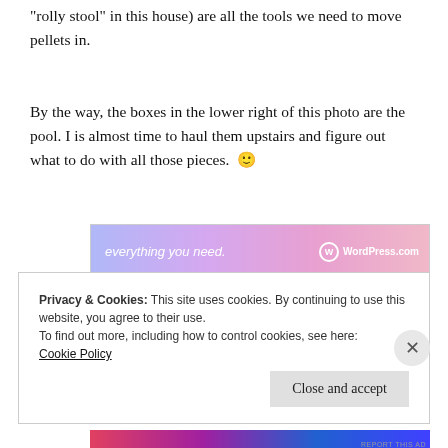“rolly stool” in this house) are all the tools we need to move pellets in.
By the way, the boxes in the lower right of this photo are the pool. I is almost time to haul them upstairs and figure out what to do with all those pieces. 🙂
[Figure (screenshot): WordPress.com advertisement banner with gradient background showing text 'everything you need.' and WordPress.com logo]
Privacy & Cookies: This site uses cookies. By continuing to use this website, you agree to their use.
To find out more, including how to control cookies, see here:
Cookie Policy
[Figure (screenshot): Bottom advertisement banner with colorful gradient]